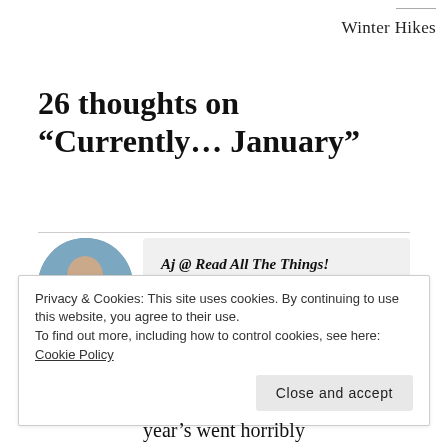Winter Hikes
26 thoughts on “Currently… January”
Aj @ Read All The Things!
Privacy & Cookies: This site uses cookies. By continuing to use this website, you agree to their use.
To find out more, including how to control cookies, see here: Cookie Policy
Close and accept
year’s went horribly